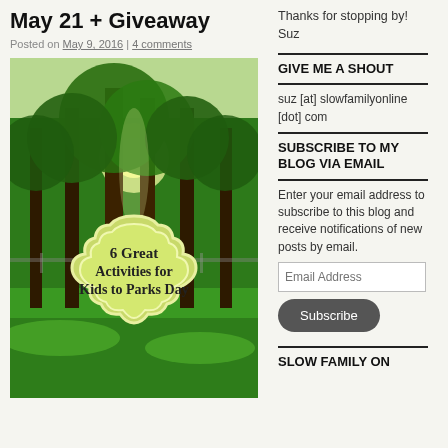May 21 + Giveaway
Posted on May 9, 2016 | 4 comments
[Figure (photo): Sunlit green park with tall trees and lush grass, overlaid with a decorative badge reading '6 Great Activities for Kids to Parks Day']
Thanks for stopping by! Suz
GIVE ME A SHOUT
suz [at] slowfamilyonline [dot] com
SUBSCRIBE TO MY BLOG VIA EMAIL
Enter your email address to subscribe to this blog and receive notifications of new posts by email.
Email Address
Subscribe
SLOW FAMILY ON